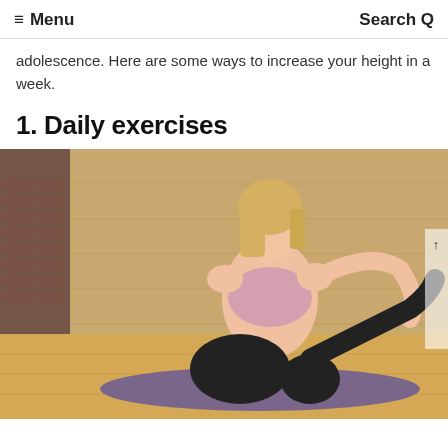≡ Menu   Search Q
adolescence. Here are some ways to increase your height in a week.
1. Daily exercises
[Figure (photo): A young blonde woman in a pink sports bra and black leggings performing a seated yoga stretch on a purple mat in a gym with brick and wood walls. She is pulling her leg back behind her in a quad stretch while looking upward.]